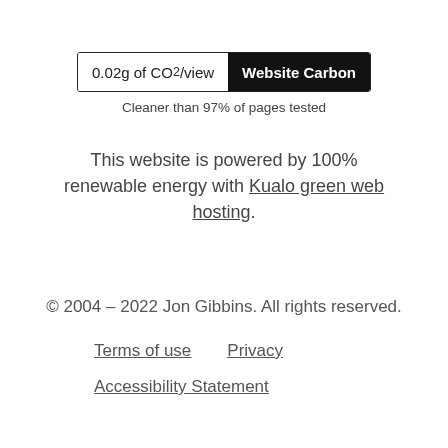[Figure (infographic): Website Carbon badge showing '0.02g of CO2/view' on white background and 'Website Carbon' on black background, with subtitle 'Cleaner than 97% of pages tested']
This website is powered by 100% renewable energy with Kualo green web hosting.
© 2004 – 2022 Jon Gibbins. All rights reserved.
Terms of use    Privacy
Accessibility Statement